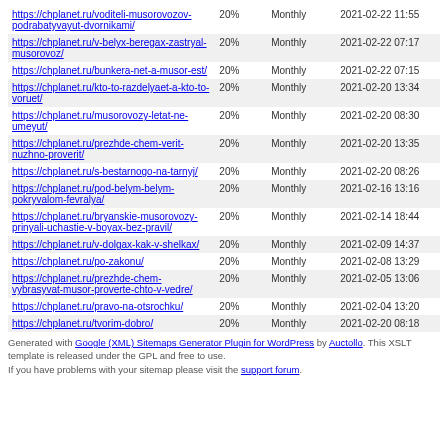| URL | Priority | Change Frequency | Last Changed |
| --- | --- | --- | --- |
| https://chplanet.ru/voditeli-musorovozov-podrabatyvayut-dvornikami/ | 20% | Monthly | 2021-02-22 11:55 |
| https://chplanet.ru/v-belyx-beregax-zastryal-musorovoz/ | 20% | Monthly | 2021-02-22 07:17 |
| https://chplanet.ru/bunkera-net-a-musor-est/ | 20% | Monthly | 2021-02-22 07:15 |
| https://chplanet.ru/kto-to-razdelyaet-a-kto-to-voruet/ | 20% | Monthly | 2021-02-20 13:34 |
| https://chplanet.ru/musorovozy-letat-ne-umeyut/ | 20% | Monthly | 2021-02-20 08:30 |
| https://chplanet.ru/prezhde-chem-verit-nuzhno-proverit/ | 20% | Monthly | 2021-02-20 13:35 |
| https://chplanet.ru/s-bestarnogo-na-tarnyj/ | 20% | Monthly | 2021-02-20 08:26 |
| https://chplanet.ru/pod-belym-belym-pokryvalom-fevralya/ | 20% | Monthly | 2021-02-16 13:16 |
| https://chplanet.ru/bryanskie-musorovozy-prinyali-uchastie-v-boyax-bez-pravil/ | 20% | Monthly | 2021-02-14 18:44 |
| https://chplanet.ru/v-dolgax-kak-v-shelkax/ | 20% | Monthly | 2021-02-09 14:37 |
| https://chplanet.ru/po-zakonu/ | 20% | Monthly | 2021-02-08 13:29 |
| https://chplanet.ru/prezhde-chem-vybrasyvat-musor-proverte-chto-v-vedre/ | 20% | Monthly | 2021-02-05 13:06 |
| https://chplanet.ru/pravo-na-otsrochku/ | 20% | Monthly | 2021-02-04 13:20 |
| https://chplanet.ru/tvorim-dobro/ | 20% | Monthly | 2021-02-20 08:18 |
Generated with Google (XML) Sitemaps Generator Plugin for WordPress by Auctollo. This XSLT template is released under the GPL and free to use. If you have problems with your sitemap please visit the support forum.